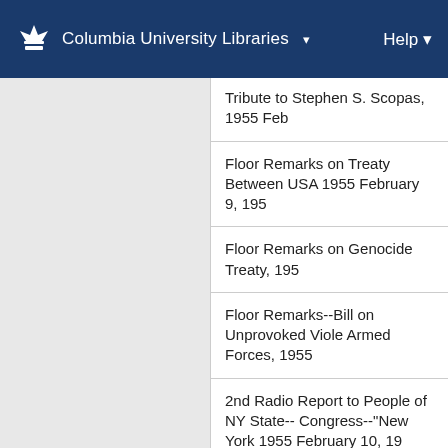Columbia University Libraries  Help
Tribute to Stephen S. Scopas, 1955 Feb
Floor Remarks on Treaty Between USA 1955 February 9, 195
Floor Remarks on Genocide Treaty, 195
Floor Remarks--Bill on Unprovoked Viole Armed Forces, 1955
2nd Radio Report to People of NY State-- Congress--"New York 1955 February 10, 19
Remarks at Washington Hebrew Tercentenary Service